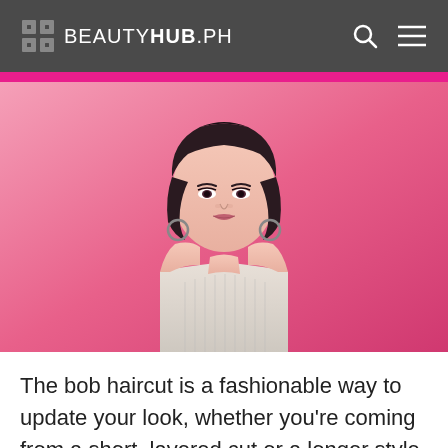BEAUTYHUB.PH
[Figure (photo): Young Asian woman with a short bob haircut wearing a light grey sleeveless turtleneck top, posing against a pink background. She has hoop earrings and is looking directly at the camera.]
The bob haircut is a fashionable way to update your look, whether you're coming from a short, layered cut or a longer style. It's chic, fresh, and